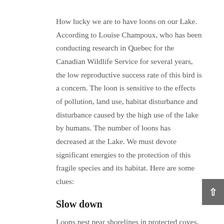How lucky we are to have loons on our Lake. According to Louise Champoux, who has been conducting research in Quebec for the Canadian Wildlife Service for several years, the low reproductive success rate of this bird is a concern. The loon is sensitive to the effects of pollution, land use, habitat disturbance and disturbance caused by the high use of the lake by humans. The number of loons has decreased at the Lake. We must devote significant energies to the protection of this fragile species and its habitat. Here are some clues:
Slow down
Loons nest near shorelines in protected coves, near small islands and in swampy areas. The approach of